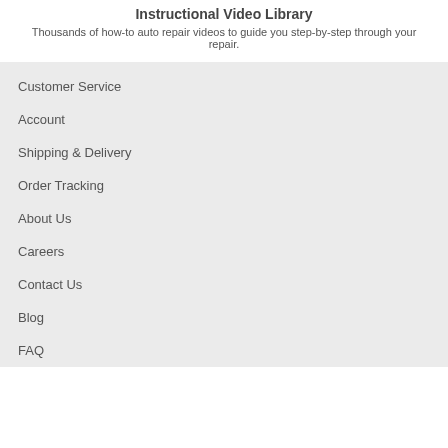Instructional Video Library
Thousands of how-to auto repair videos to guide you step-by-step through your repair.
Customer Service
Account
Shipping & Delivery
Order Tracking
About Us
Careers
Contact Us
Blog
FAQ